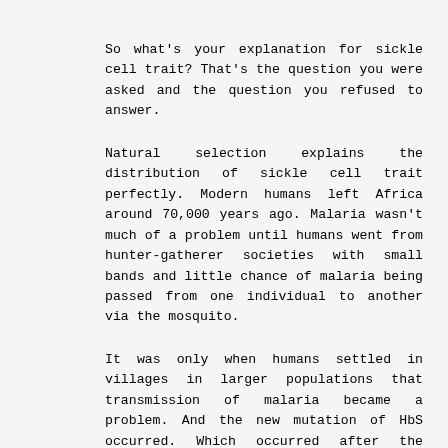So what's your explanation for sickle cell trait? That's the question you were asked and the question you refused to answer.
Natural selection explains the distribution of sickle cell trait perfectly. Modern humans left Africa around 70,000 years ago. Malaria wasn't much of a problem until humans went from hunter-gatherer societies with small bands and little chance of malaria being passed from one individual to another via the mosquito.
It was only when humans settled in villages in larger populations that transmission of malaria became a problem. And the new mutation of HbS occurred. Which occurred after the migration out of Africa, so the emigrants didn't have the mutation. The humans who crossed the Baring Strait into the Americas didn't take malaria with them, so the Americas were free of malaria (and many other diseases such as smallpox and